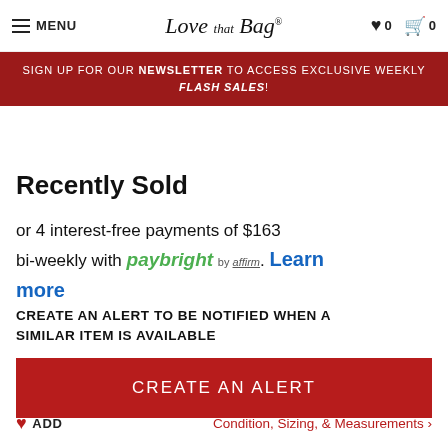MENU | Love that Bag | ♥ 0 | 🛒 0
SIGN UP FOR OUR NEWSLETTER TO ACCESS EXCLUSIVE WEEKLY FLASH SALES!
SPEEDY 35
Recently Sold
or 4 interest-free payments of $163 bi-weekly with paybright by affirm. Learn more
CREATE AN ALERT TO BE NOTIFIED WHEN A SIMILAR ITEM IS AVAILABLE
CREATE AN ALERT
ADD | Condition, Sizing, & Measurements >